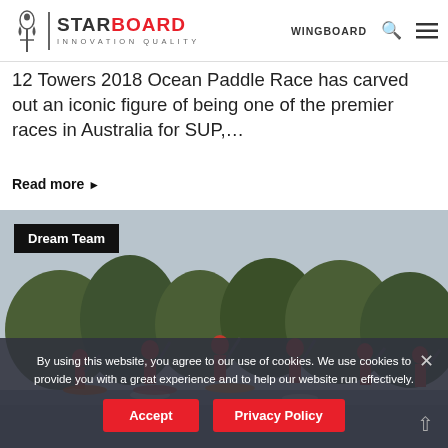Starboard INNOVATION QUALITY | WINGBOARD
12 Towers 2018 Ocean Paddle Race has carved out an iconic figure of being one of the premier races in Australia for SUP,...
Read more ▶
[Figure (photo): Dream Team: Group of SUP (Stand Up Paddleboard) racers paddling in a race, with trees in the background. Label 'Dream Team' overlaid in top-left corner on dark background.]
By using this website, you agree to our use of cookies. We use cookies to provide you with a great experience and to help our website run effectively.